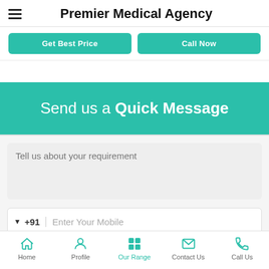Premier Medical Agency
Get Best Price | Call Now
Send us a Quick Message
Tell us about your requirement
+91 Enter Your Mobile
Home | Profile | Our Range | Contact Us | Call Us